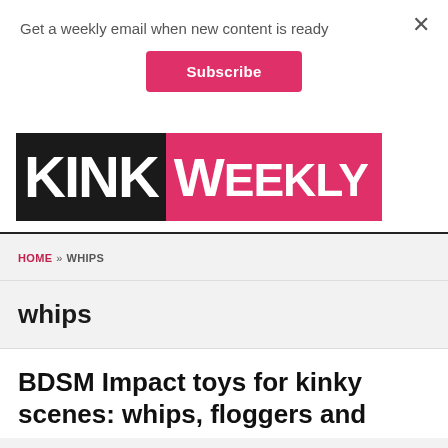Get a weekly email when new content is ready
Subscribe
[Figure (logo): Kink Weekly logo — KINK in white on black block, WEEKLY in white on pink/magenta background]
HOME » WHIPS
whips
BDSM Impact toys for kinky scenes: whips, floggers and